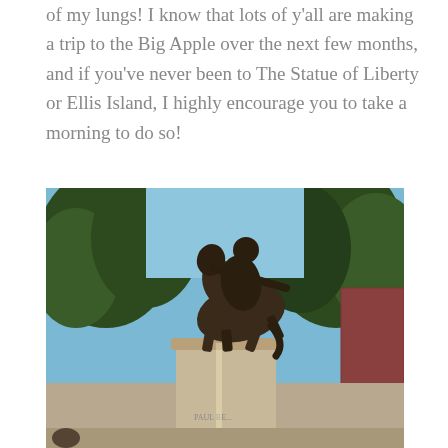of my lungs! I know that lots of y'all are making a trip to the Big Apple over the next few months, and if you've never been to The Statue of Liberty or Ellis Island, I highly encourage you to take a morning to do so!
[Figure (photo): Outdoor photograph taken from a low angle looking up at a bronze equestrian statue mounted on a stone pedestal. The rider's arm is outstretched. Behind the statue are tall leafy trees against a blue sky, and a red brick building is partially visible on the right. The pedestal has text partially reading 'PAUL RE...'.]